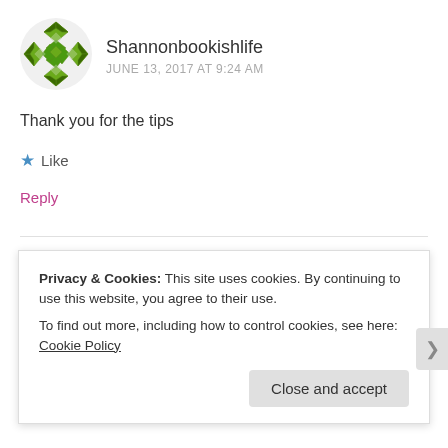[Figure (logo): Green geometric diamond/star pattern avatar icon for Shannonbookishlife]
Shannonbookishlife
JUNE 13, 2017 AT 9:24 AM
Thank you for the tips
★ Like
Reply
Leave a Reply to Shannonbookishlife
Cancel reply
Privacy & Cookies: This site uses cookies. By continuing to use this website, you agree to their use.
To find out more, including how to control cookies, see here: Cookie Policy
Close and accept